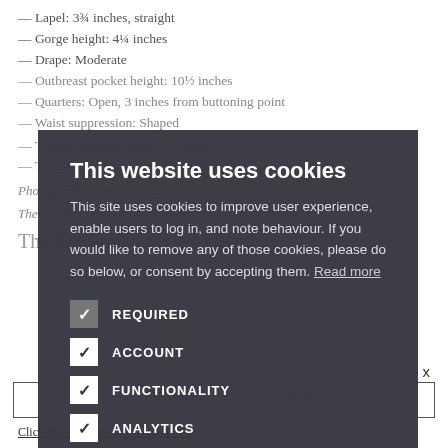— Lapel: 3¾ inches, straight
— Gorge height: 4¼ inches
— Drape: Moderate
— Outbreast pocket height: 10½ inches
— Quarters: Open, 3 inches from buttoning point
— Waist suppression: Shaped
— Trouser width at knee: 18⅝ inches
— Trouser width at cuff: 15¾ inches
Photography: Jamie Ferguson @jkf_man
The original review post, from which the image below is
The Edwardian Style M Sketch
This website uses cookies
This site uses cookies to improve user experience, enable users to log in, and note behaviour. If you would like to remove any of those cookies, please do so below, or consent by accepting them. Read more
REQUIRED
ACCOUNT
FUNCTIONALITY
ANALYTICS
ACCEPT ALL
DECLINE ALL
CLICK HERE TO REGISTER
Click here to read our Privacy Policy